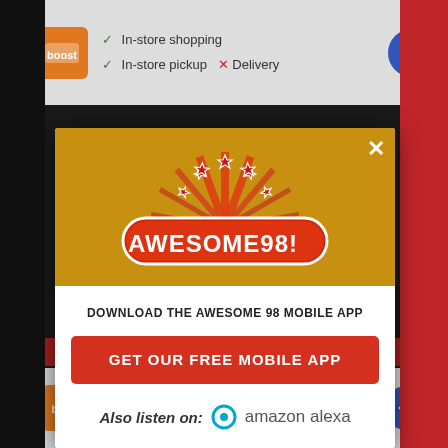[Figure (screenshot): Top advertisement banner showing Boost Mobile ad with in-store shopping, in-store pickup checkmarks and Delivery with X mark]
[Figure (logo): Awesome 98 radio station logo with red stars burst and orange/gold background in modal dialog]
DOWNLOAD THE AWESOME 98 MOBILE APP
GET OUR FREE MOBILE APP
Also listen on:  amazon alexa
[Figure (screenshot): Bottom advertisement banner showing Boost Mobile ad with in-store shopping, in-store pickup checkmarks and Delivery with X mark]